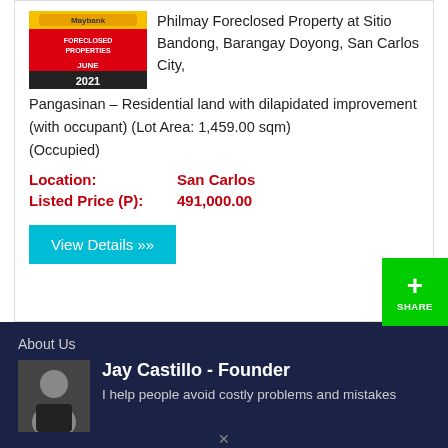[Figure (photo): Maybank Foreclosed Properties June 2021 banner/logo image]
Philmay Foreclosed Property at Sitio Bandong, Barangay Doyong, San Carlos City, Pangasinan – Residential land with dilapidated improvement (with occupant) (Lot Area: 1,459.00 sqm) (Occupied)
Location: San Carlos
Listed Price (P): 491,000.00
View Details »
About Us
[Figure (photo): Photo of Jay Castillo, Founder]
Jay Castillo - Founder
I help people avoid costly problems and mistakes